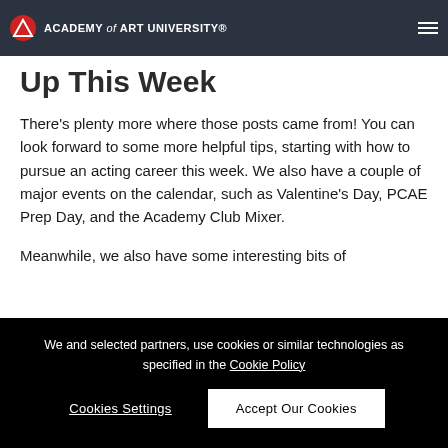ACADEMY of ART UNIVERSITY®
Up This Week
There's plenty more where those posts came from! You can look forward to some more helpful tips, starting with how to pursue an acting career this week. We also have a couple of major events on the calendar, such as Valentine's Day, PCAE Prep Day, and the Academy Club Mixer.
Meanwhile, we also have some interesting bits of
We and selected partners, use cookies or similar technologies as specified in the Cookie Policy
Cookies Settings
Accept Our Cookies